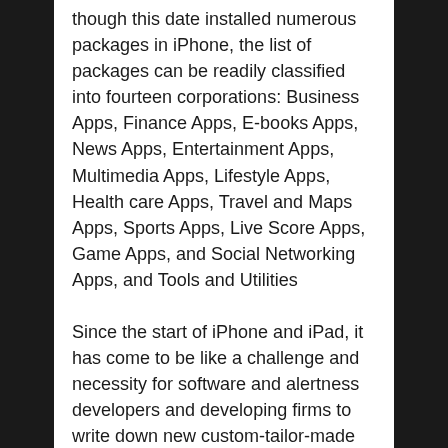though this date installed numerous packages in iPhone, the list of packages can be readily classified into fourteen corporations: Business Apps, Finance Apps, E-books Apps, News Apps, Entertainment Apps, Multimedia Apps, Lifestyle Apps, Health care Apps, Travel and Maps Apps, Sports Apps, Live Score Apps, Game Apps, and Social Networking Apps, and Tools and Utilities
Since the start of iPhone and iPad, it has come to be like a challenge and necessity for software and alertness developers and developing firms to write down new custom-tailor-made packages for the consumer. Some customers want to music their expenses, some need custom spread sheets, a few want to music their miles, and a few customers need the whole thing. Apps have to appease all desires to make it rich.